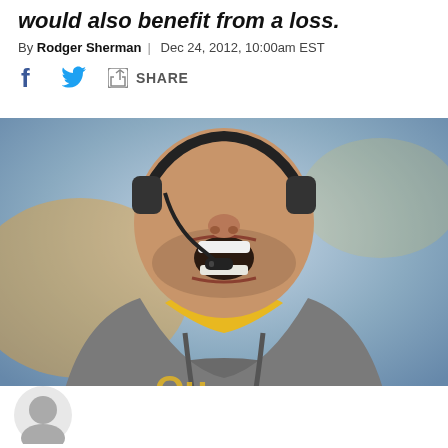would also benefit from a loss.
By Rodger Sherman | Dec 24, 2012, 10:00am EST
SHARE
[Figure (photo): Close-up photo of a football coach wearing a gray hoodie with yellow accents, a headset with microphone, mouth open as if shouting instructions on the sideline.]